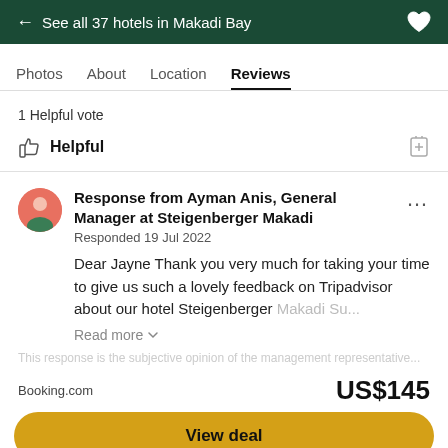← See all 37 hotels in Makadi Bay
Photos  About  Location  Reviews
1 Helpful vote
Helpful
Response from Ayman Anis, General Manager at Steigenberger Makadi
Responded 19 Jul 2022
Dear Jayne Thank you very much for taking your time to give us such a lovely feedback on Tripadvisor about our hotel Steigenberger Makadi Su...
Read more
Booking.com
US$145
View deal